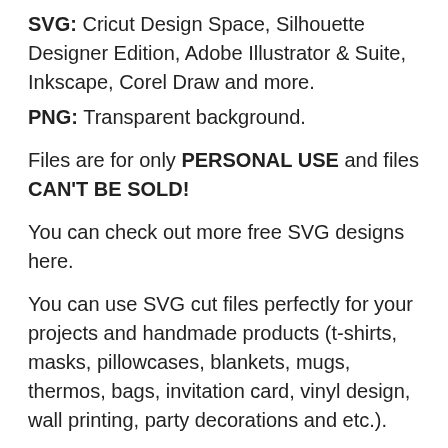SVG: Cricut Design Space, Silhouette Designer Edition, Adobe Illustrator & Suite, Inkscape, Corel Draw and more.
PNG: Transparent background.
Files are for only PERSONAL USE and files CAN'T BE SOLD!
You can check out more free SVG designs here.
You can use SVG cut files perfectly for your projects and handmade products (t-shirts, masks, pillowcases, blankets, mugs, thermos, bags, invitation card, vinyl design, wall printing, party decorations and etc.).
How To Use:
The files you download come in .zip file format.